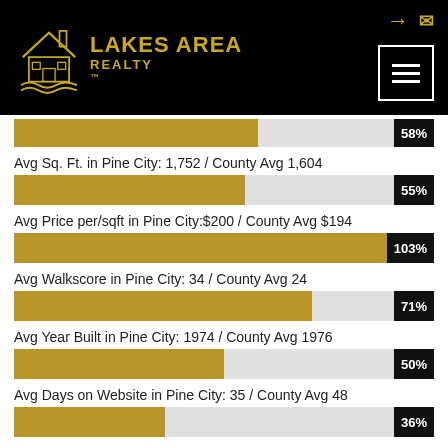[Figure (logo): Lakes Area Realty logo with house icon in gold on black background]
[Figure (bar-chart): Avg Sq. Ft. in Pine City: 1,752 / County Avg 1,604]
[Figure (bar-chart): Avg Price per/sqft in Pine City:$200 / County Avg $194]
[Figure (bar-chart): Avg Walkscore in Pine City: 34 / County Avg 24]
[Figure (bar-chart): Avg Year Built in Pine City: 1974 / County Avg 1976]
[Figure (bar-chart): Avg Days on Website in Pine City: 35 / County Avg 48]